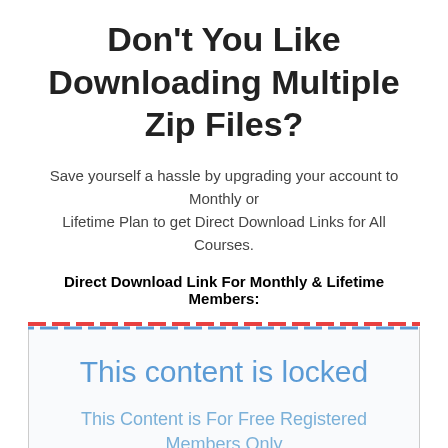Don't You Like Downloading Multiple Zip Files?
Save yourself a hassle by upgrading your account to Monthly or Lifetime Plan to get Direct Download Links for All Courses.
Direct Download Link For Monthly & Lifetime Members:
This content is locked
This Content is For Free Registered Members Only
Username:
Password: